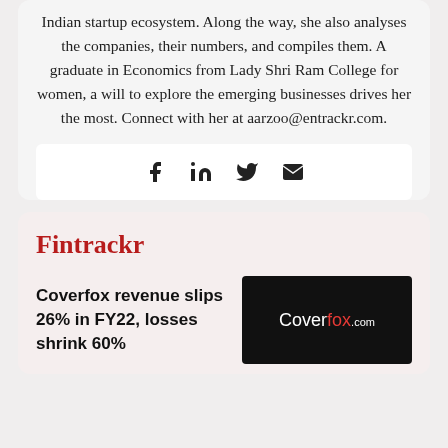Indian startup ecosystem. Along the way, she also analyses the companies, their numbers, and compiles them. A graduate in Economics from Lady Shri Ram College for women, a will to explore the emerging businesses drives her the most. Connect with her at aarzoo@entrackr.com.
[Figure (infographic): Social media share icons: Facebook, LinkedIn, Twitter, Email]
Fintrackr
Coverfox revenue slips 26% in FY22, losses shrink 60%
[Figure (logo): Coverfox.com logo on black background]